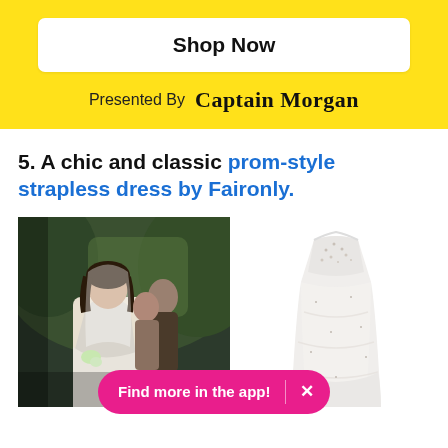[Figure (screenshot): Yellow banner with Shop Now button and Captain Morgan branding]
5. A chic and classic prom-style strapless dress by Faironly.
[Figure (photo): Left: photo of a bride in a white strapless dress with veil and dark hair, outdoors with people in background. Right: product photo of a white strapless ball gown wedding dress on white background.]
Find more in the app!  ×